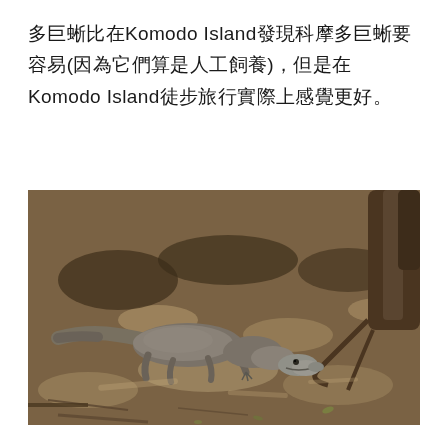多巨蜥比在Komodo Island發現科摩多巨蜥要容易(因為它們算是人工飼養)，但是在Komodo Island徒步旅行實際上感覺更好。
[Figure (photo): A Komodo dragon lying low on sandy ground in a shaded forest area with tree trunks and roots visible in the background. The lizard is facing right with its head near the ground.]